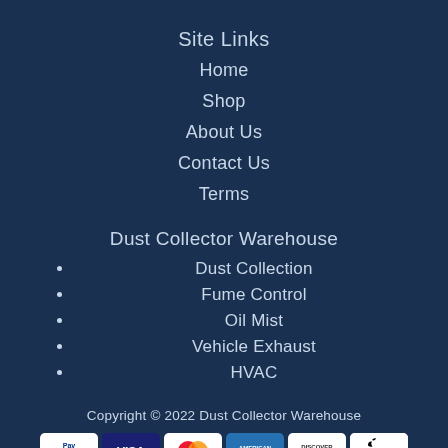Site Links
Home
Shop
About Us
Contact Us
Terms
Dust Collector Warehouse
Dust Collection
Fume Control
Oil Mist
Vehicle Exhaust
HVAC
Copyright © 2022 Dust Collector Warehouse
[Figure (other): Payment method icons: PayPal, Visa, MasterCard, American Express, Discover, Apple Pay]